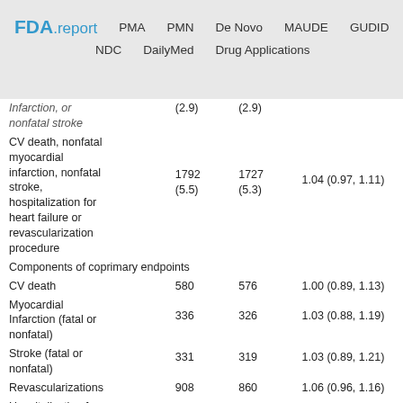FDA.report  PMA  PMN  De Novo  MAUDE  GUDID  NDC  DailyMed  Drug Applications
|  |  |  |  |
| --- | --- | --- | --- |
| Infarction, or nonfatal stroke | (2.9) | (2.9) |  |
| CV death, nonfatal myocardial infarction, nonfatal stroke, hospitalization for heart failure or revascularization procedure | 1792 (5.5) | 1727 (5.3) | 1.04 (0.97, 1.11) |
| Components of coprimary endpoints |  |  |  |
| CV death | 580 | 576 | 1.00 (0.89, 1.13) |
| Myocardial Infarction (fatal or nonfatal) | 336 | 326 | 1.03 (0.88, 1.19) |
| Stroke (fatal or nonfatal) | 331 | 319 | 1.03 (0.89, 1.21) |
| Revascularizations | 908 | 860 | 1.06 (0.96, 1.16) |
| Hospitalization for heart failure | 310 | 343 | 0.90 (0.77, 1.05) |